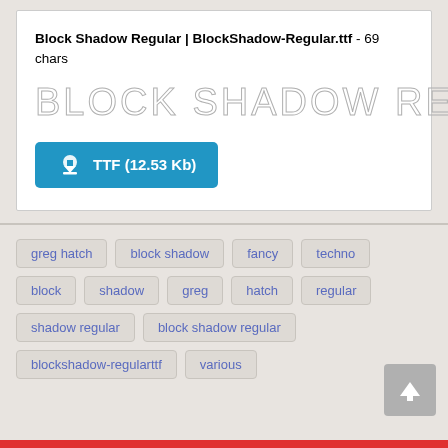Block Shadow Regular | BlockShadow-Regular.ttf - 69 chars
[Figure (illustration): Font preview showing 'BLOCK SHADOW REGULAR' text in outline/shadow style with light gray stroked letters]
TTF (12.53 Kb)
greg hatch
block shadow
fancy
techno
block
shadow
greg
hatch
regular
shadow regular
block shadow regular
blockshadow-regularttf
various